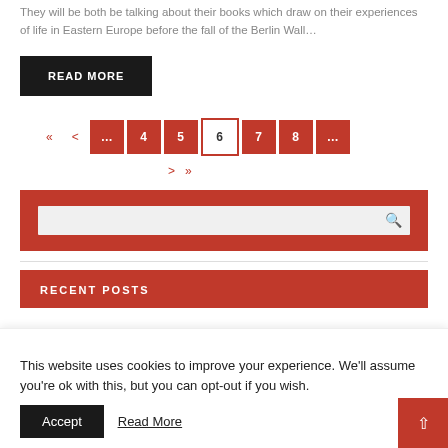They will be both be talking about their books which draw on their experiences of life in Eastern Europe before the fall of the Berlin Wall…
READ MORE
« < … 4 5 6 7 8 … > »
[Figure (other): Search box widget with red background and text input field with search icon]
RECENT POSTS
This website uses cookies to improve your experience. We'll assume you're ok with this, but you can opt-out if you wish.
Accept  Read More